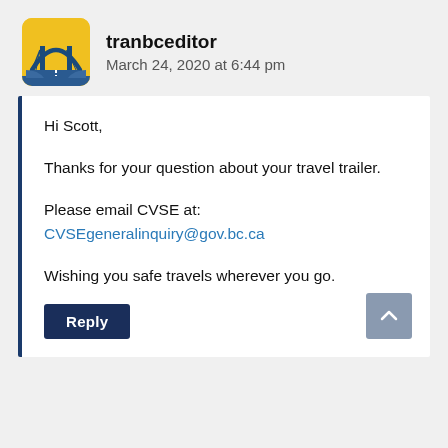[Figure (logo): tranbceditor logo: yellow/gold rounded square with stylized road and bridge arch graphic in blue/teal]
tranbceditor
March 24, 2020 at 6:44 pm
Hi Scott,

Thanks for your question about your travel trailer.

Please email CVSE at:
CVSEgeneralinquiry@gov.bc.ca

Wishing you safe travels wherever you go.
Reply